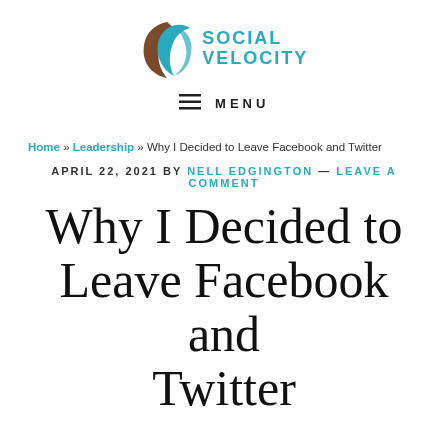[Figure (logo): Social Velocity logo with teal and brown swoosh graphic and teal text reading SOCIAL VELOCITY]
≡ MENU
Home » Leadership » Why I Decided to Leave Facebook and Twitter
APRIL 22, 2021 BY NELL EDGINGTON — LEAVE A COMMENT
Why I Decided to Leave Facebook and Twitter